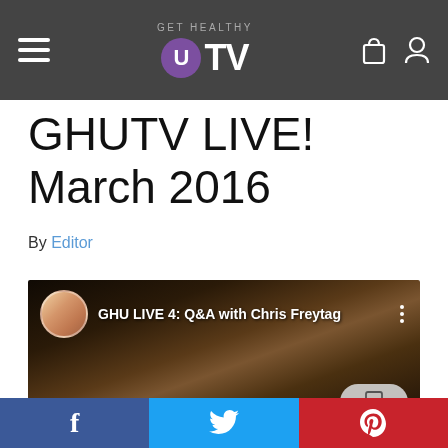GET HEALTHY U TV
GHUTV LIVE! March 2016
By Editor
[Figure (screenshot): Video thumbnail showing GHU LIVE 4: Q&A with Chris Freytag, with a close-up of a woman's face in dim lighting, a channel avatar in the top-left, and a comment button in the bottom-right.]
Social share bar with Facebook, Twitter, and Pinterest buttons